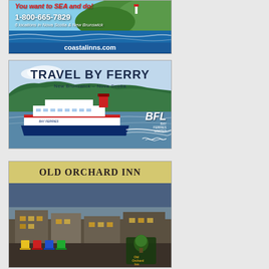[Figure (illustration): Coastal Inns advertisement: scenic Nova Scotia coastline with red and italic text 'You want to SEA and do!', phone number 1-800-665-7829, '6 locations in Nova Scotia & New Brunswick', and website coastalinns.com on blue wave background]
[Figure (illustration): Bay Ferries Limited advertisement: 'TRAVEL BY FERRY New Brunswick - Nova Scotia' with photo of a Bay Ferries ferry boat on water with green cliffs in background, BFL logo in bottom right]
[Figure (illustration): Old Orchard Inn advertisement: tan header with 'OLD ORCHARD INN' text, photo of inn exterior at dusk with colorful Adirondack chairs and Old Orchard Inn logo badge]